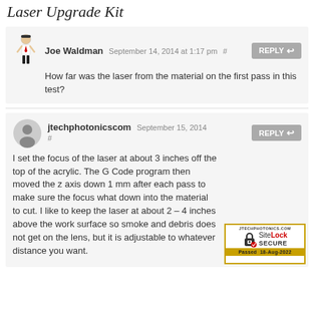Laser Upgrade Kit
Joe Waldman September 14, 2014 at 1:17 pm #
How far was the laser from the material on the first pass in this test?
jtechphotonicscom September 15, 2014 #
I set the focus of the laser at about 3 inches off the top of the acrylic. The G Code program then moved the z axis down 1 mm after each pass to make sure the focus what down into the material to cut. I like to keep the laser at about 2 – 4 inches above the work surface so smoke and debris does not get on the lens, but it is adjustable to whatever distance you want.
[Figure (logo): SiteLock SECURE badge from JTECHPHOTONICS.COM, Passed 18-Aug-2022]